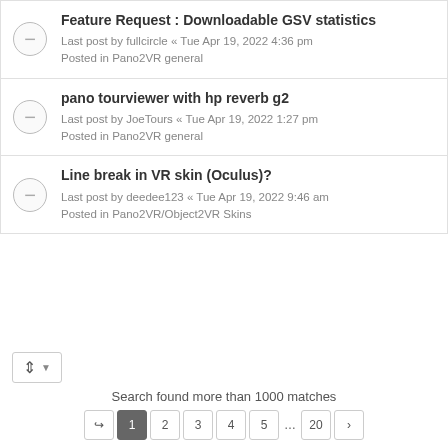Feature Request : Downloadable GSV statistics
Last post by fullcircle « Tue Apr 19, 2022 4:36 pm
Posted in Pano2VR general
pano tourviewer with hp reverb g2
Last post by JoeTours « Tue Apr 19, 2022 1:27 pm
Posted in Pano2VR general
Line break in VR skin (Oculus)?
Last post by deedee123 « Tue Apr 19, 2022 9:46 am
Posted in Pano2VR/Object2VR Skins
Search found more than 1000 matches
1 2 3 4 5 … 20